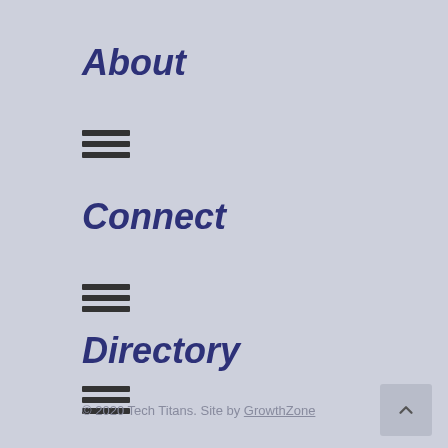About
[Figure (other): Hamburger menu icon with three horizontal bars]
Connect
[Figure (other): Hamburger menu icon with three horizontal bars]
Directory
[Figure (other): Hamburger menu icon with three horizontal bars]
© 2020 Tech Titans. Site by GrowthZone